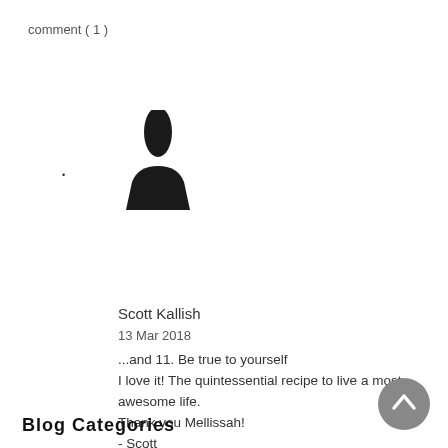comment ( 1 )
[Figure (illustration): Black silhouette of a person/avatar placeholder icon]
Scott Kallish
13 Mar 2018
...and 11. Be true to yourself
I love it! The quintessential recipe to live a most awesome life.
Thank you Mellissah!
- Scott
Reply
Blog Categories